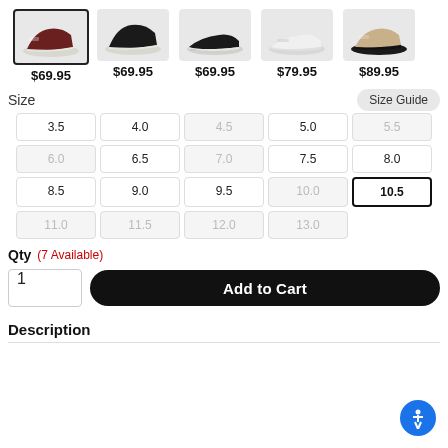[Figure (photo): Row of 5 shoe product thumbnails with prices: $69.95 (maroon, selected), $69.95 (black), $69.95 (black low), $79.95 (white), $89.95 (tan)]
Size
Size Guide
| 3.5 | 4.0 | 4.5 | 5.0 | 5.5 |
| 6.0 | 6.5 | 7.0 | 7.5 | 8.0 |
| 8.5 | 9.0 | 9.5 | 10.0 | 10.5 |
| 11.0 | 11.5 | 12.0 | 13.0 |  |
Qty (7 Available)
1
Add to Cart
Description